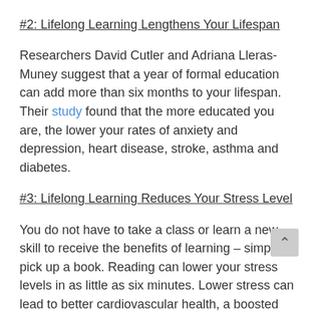#2: Lifelong Learning Lengthens Your Lifespan
Researchers David Cutler and Adriana Lleras-Muney suggest that a year of formal education can add more than six months to your lifespan. Their study found that the more educated you are, the lower your rates of anxiety and depression, heart disease, stroke, asthma and diabetes.
#3: Lifelong Learning Reduces Your Stress Level
You do not have to take a class or learn a new skill to receive the benefits of learning – simply pick up a book. Reading can lower your stress levels in as little as six minutes. Lower stress can lead to better cardiovascular health, a boosted immune system, lower blood pres. and decreased levels of depression.